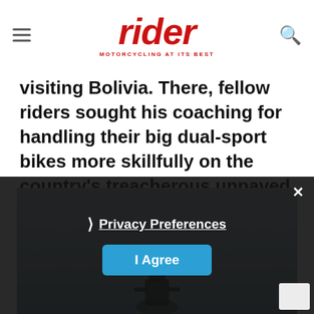rider — MOTORCYCLING AT ITS BEST
visiting Bolivia. There, fellow riders sought his coaching for handling their big dual-sport bikes more skillfully on the country's treacherous unpaved roads.
[Figure (photo): Outdoor photo of a motorcyclist silhouetted against an overcast grey sky, partially obscured by a cookie consent overlay]
Privacy Preferences
I Agree